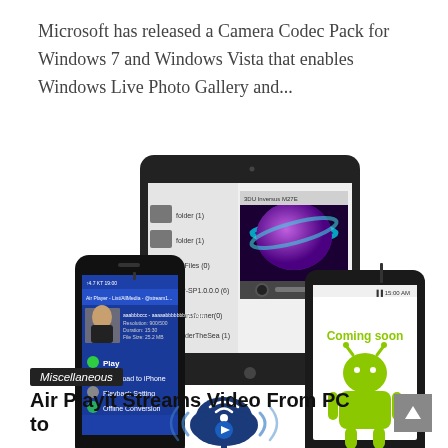Microsoft has released a Camera Codec Pack for Windows 7 and Windows Vista that enables Windows Live Photo Gallery and...
[Figure (screenshot): Promotional screenshot showing Air Playit app running on an iPad with a video player open showing a planet/space scene, an iPhone on the left showing the app interface with options Play, Download to iPhone, Playback Setting, Offline Conversion, and an Android phone on the right with a white screen showing Coming soon and a green Android robot logo. Below the devices is a blue cloud streaming icon with WiFi signal waves.]
Miscellaneous
Air Playit Streams Video From PC to